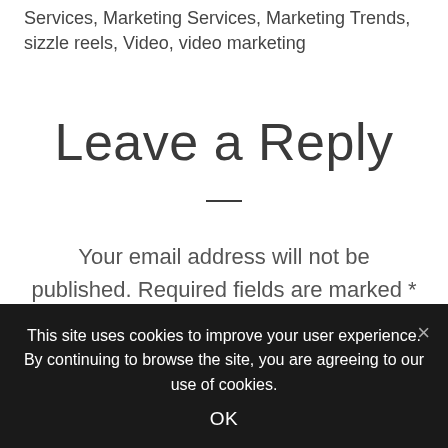Services, Marketing Services, Marketing Trends, sizzle reels, Video, video marketing
Leave a Reply
Your email address will not be published. Required fields are marked *
This site uses cookies to improve your user experience. By continuing to browse the site, you are agreeing to our use of cookies.
OK